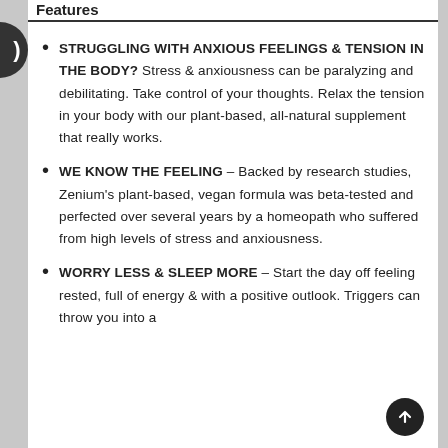Features
STRUGGLING WITH ANXIOUS FEELINGS & TENSION IN THE BODY? Stress & anxiousness can be paralyzing and debilitating. Take control of your thoughts. Relax the tension in your body with our plant-based, all-natural supplement that really works.
WE KNOW THE FEELING – Backed by research studies, Zenium's plant-based, vegan formula was beta-tested and perfected over several years by a homeopath who suffered from high levels of stress and anxiousness.
WORRY LESS & SLEEP MORE – Start the day off feeling rested, full of energy & with a positive outlook. Triggers can throw you into a